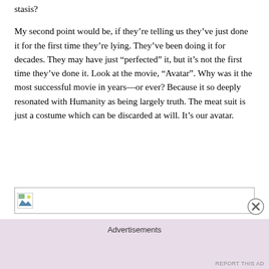stasis?
My second point would be, if they're telling us they've just done it for the first time they're lying. They've been doing it for decades. They may have just “perfected” it, but it’s not the first time they’ve done it. Look at the movie, “Avatar”. Why was it the most successful movie in years—or ever? Because it so deeply resonated with Humanity as being largely truth. The meat suit is just a costume which can be discarded at will. It’s our avatar.
[Figure (other): Broken image placeholder icon]
Advertisements